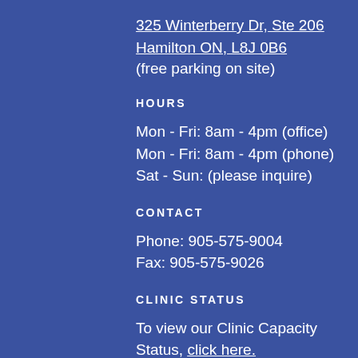325 Winterberry Dr, Ste 206
Hamilton ON, L8J 0B6
(free parking on site)
HOURS
Mon - Fri: 8am - 4pm (office)
Mon - Fri: 8am - 4pm (phone)
Sat - Sun: (please inquire)
CONTACT
Phone: 905-575-9004
Fax: 905-575-9026
CLINIC STATUS
To view our Clinic Capacity Status, click here.